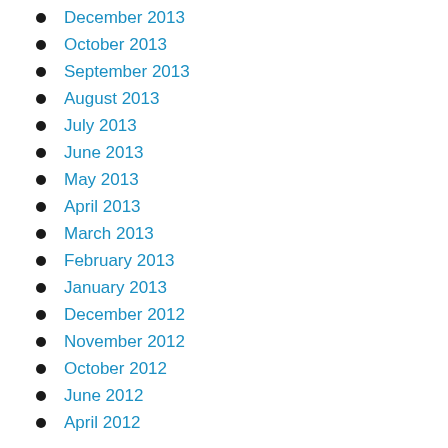December 2013
October 2013
September 2013
August 2013
July 2013
June 2013
May 2013
April 2013
March 2013
February 2013
January 2013
December 2012
November 2012
October 2012
June 2012
April 2012